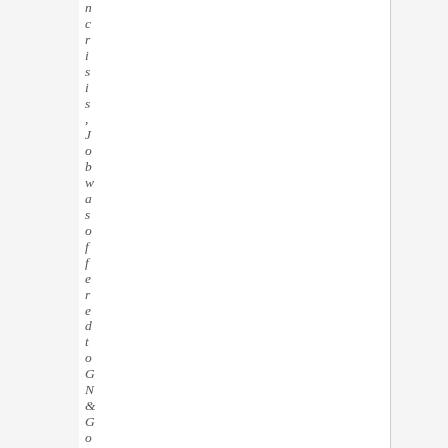ncrisis, Job was offered to GN&Gol m